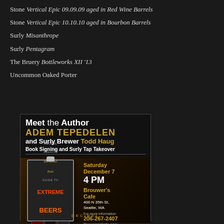Stone Vertical Epic 09.09.09 aged in Red Wine Barrels
Stone Vertical Epic 10.10.10 aged in Bourbon Barrels
Surly Misanthrope
Surly Pentagram
The Bruery Bottleworks XII '13
Uncommon Oaked Porter
[Figure (infographic): Meet the Author event poster for Adem Tepedelen and Surly Brewer Todd Haug. Book Signing and Surly Tap Takeover. Saturday December 7, 4 PM. Brouwer's Cafe, 400 N 35th St, Seattle, WA. 206-267-2437. BrouwersCafe.com. Features Decibel Brewtical Guide to Extreme Beers book cover.]